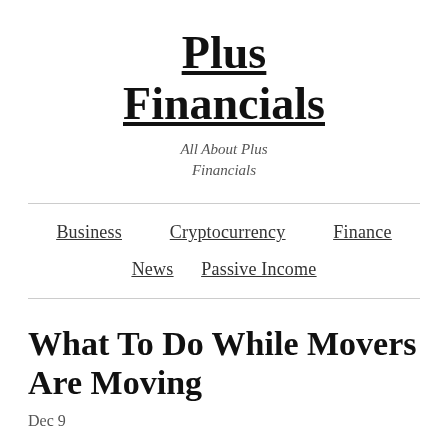Plus Financials
All About Plus Financials
Business   Cryptocurrency   Finance   News   Passive Income
What To Do While Movers Are Moving
Dec 9